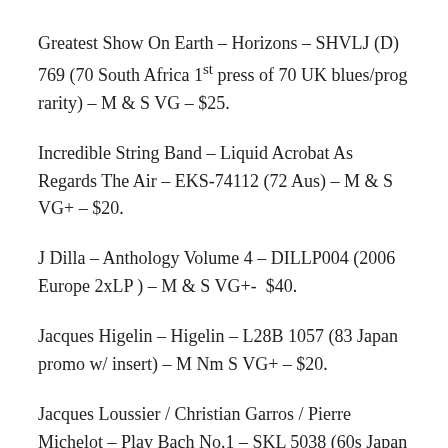Greatest Show On Earth – Horizons – SHVLJ (D) 769 (70 South Africa 1st press of 70 UK blues/prog rarity) – M & S VG – $25.
Incredible String Band – Liquid Acrobat As Regards The Air – EKS-74112 (72 Aus) – M & S VG+ – $20.
J Dilla – Anthology Volume 4 – DILLP004 (2006 Europe 2xLP ) – M & S VG+-  $40.
Jacques Higelin – Higelin – L28B 1057 (83 Japan promo w/ insert) – M Nm S VG+ – $20.
Jacques Loussier / Christian Garros / Pierre Michelot – Play Bach No.1 – SKL 5038 (60s Japan w/ inster) – M & S NM – $10,.